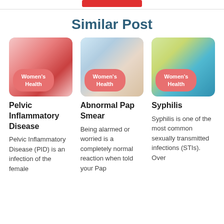Similar Post
[Figure (photo): Medical illustration of female reproductive anatomy with uterus and fallopian tubes, with a salmon/pink 'Women's Health' badge overlay]
Pelvic Inflammatory Disease
Pelvic Inflammatory Disease (PID) is an infection of the female
[Figure (photo): Photo of a doctor consulting with a female patient, with a salmon/pink 'Women's Health' badge overlay]
Abnormal Pap Smear
Being alarmed or worried is a completely normal reaction when told your Pap
[Figure (photo): Photo of a medical glove against a yellow-green background with 'Women's Health' badge overlay]
Syphilis
Syphilis is one of the most common sexually transmitted infections (STIs). Over